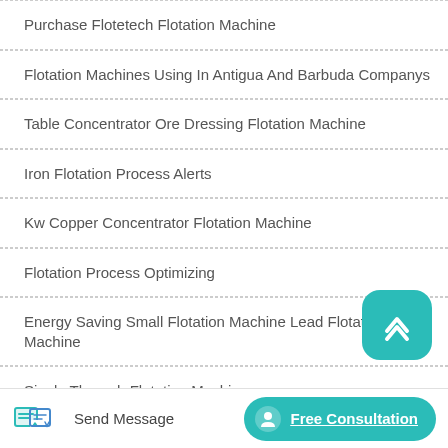Purchase Flotetech Flotation Machine
Flotation Machines Using In Antigua And Barbuda Companys
Table Concentrator Ore Dressing Flotation Machine
Iron Flotation Process Alerts
Kw Copper Concentrator Flotation Machine
Flotation Process Optimizing
Energy Saving Small Flotation Machine Lead Flotation Machine
Single Through Flotation Machine
Sale Of Mineral Flotation Process In...
[Figure (other): Scroll-to-top button with up-chevron icon on teal rounded square background]
[Figure (other): Bottom bar with Send Message button (pencil icon) and Free Consultation button (headset icon) on teal pill-shaped background]